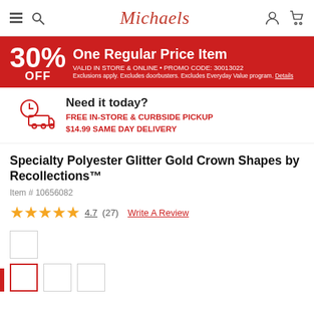Michaels — navigation header with hamburger menu, search, logo, user account, and cart icons
[Figure (infographic): Red promotional banner: 30% OFF One Regular Price Item. VALID IN STORE & ONLINE • PROMO CODE: 30013022. Exclusions apply. Excludes doorbusters. Excludes Everyday Value program. Details]
[Figure (infographic): Need it today? FREE IN-STORE & CURBSIDE PICKUP $14.99 SAME DAY DELIVERY — red truck/clock icon]
Specialty Polyester Glitter Gold Crown Shapes by Recollections™
Item # 10656082
★★★★★ 4.7 (27) Write A Review
[Figure (photo): Product image thumbnails: one main thumbnail and a row of three smaller thumbnails, with a selected thumbnail highlighted in red border]